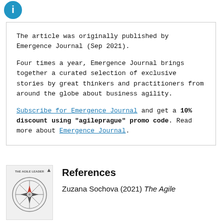[Figure (logo): Blue circle icon at top left]
The article was originally published by Emergence Journal (Sep 2021).

Four times a year, Emergence Journal brings together a curated selection of exclusive stories by great thinkers and practitioners from around the globe about business agility.

Subscribe for Emergence Journal and get a 10% discount using "agileprague" promo code. Read more about Emergence Journal.
References
[Figure (illustration): Book cover thumbnail showing Agile Leader compass logo]
Zuzana Sochova (2021) The Agile